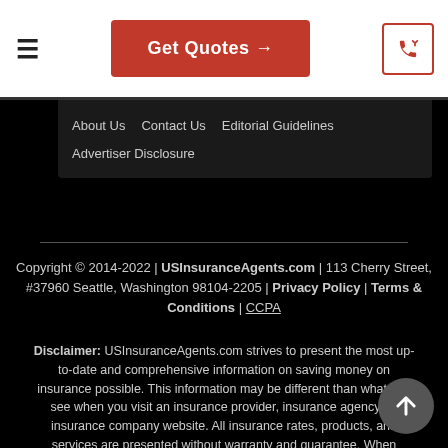Get Quotes →
About Us
Contact Us
Editorial Guidelines
Advertiser Disclosure
Copyright © 2014-2022 | USInsuranceAgents.com | 113 Cherry Street, #37960 Seattle, Washington 98104-2205 | Privacy Policy | Terms & Conditions | CCPA
Disclaimer: USInsuranceAgents.com strives to present the most up-to-date and comprehensive information on saving money on insurance possible. This information may be different than what you see when you visit an insurance provider, insurance agency, or insurance company website. All insurance rates, products, and services are presented without warranty and guarantee. When evaluating rates, please verify directly with your insurance company or agent. Quotes and offers are not binding, nor a guarantee of coverage.